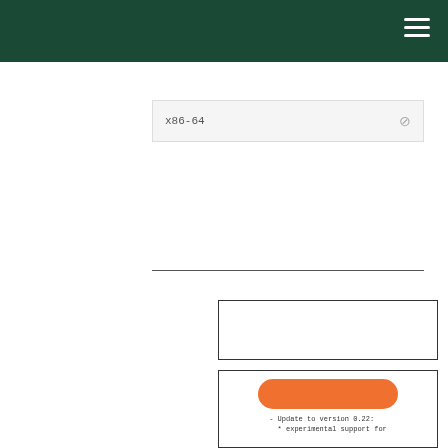| x86-64 | ⊘ |
[Figure (screenshot): Empty box with border]
[Figure (screenshot): Box with orange pill button and code text: - Update to version 0.22: * experimental support for]